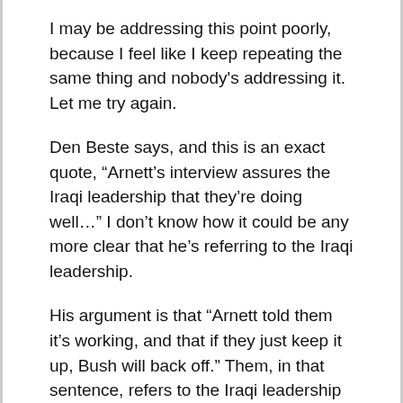I may be addressing this point poorly, because I feel like I keep repeating the same thing and nobody's addressing it. Let me try again.
Den Beste says, and this is an exact quote, “Arnett’s interview assures the Iraqi leadership that they’re doing well…” I don’t know how it could be any more clear that he’s referring to the Iraqi leadership.
His argument is that “Arnett told them it’s working, and that if they just keep it up, Bush will back off.” Them, in that sentence, refers to the Iraqi leadership who concocted this undeniably vile strategy in the first place.
Again, further on: “But if this does encourage the Iraqi government to start creating lots of death scenes to blame on us, then the people killed will actually be dead, and their blood will be on Arnett’s hands.”